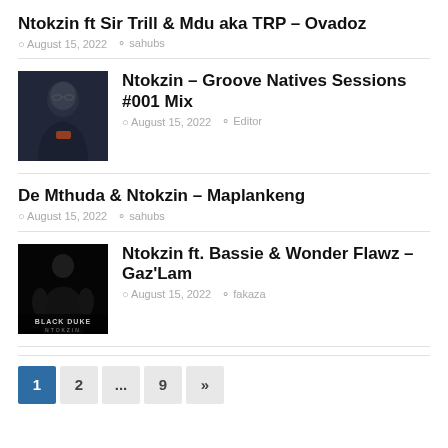Ntokzin ft Sir Trill & Mdu aka TRP – Ovadoz
August 15, 2022   sahubs
[Figure (photo): Portrait photo of a man wearing a dark hoodie with orange logo, dark background]
Ntokzin – Groove Natives Sessions #001 Mix
August 15, 2022   Editor
De Mthuda & Ntokzin – Maplankeng
August 15, 2022   sahubs
[Figure (photo): Album cover showing a muscular male figure in black and white, text BLACK DUKE and NTOKZIN at bottom]
Ntokzin ft. Bassie & Wonder Flawz – Gaz'Lam
August 15, 2022   fakaza
1  2  ...  9  »